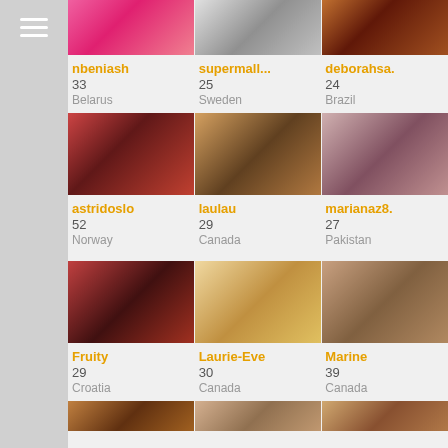[Figure (screenshot): Mobile dating/social app interface showing a grid of user profile photos with usernames, ages, and countries. Sidebar with hamburger menu on left. Multiple rows of 3 profile cards each.]
nbeniash
33
Belarus
supermall...
25
Sweden
deborahsa.
24
Brazil
astridoslo
52
Norway
laulau
29
Canada
marianaz8.
27
Pakistan
Fruity
29
Croatia
Laurie-Eve
30
Canada
Marine
39
Canada